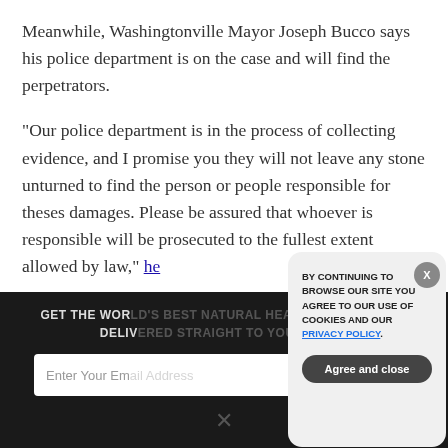Meanwhile, Washingtonville Mayor Joseph Bucco says his police department is on the case and will find the perpetrators.
“Our police department is in the process of collecting evidence, and I promise you they will not leave any stone unturned to find the person or people responsible for theses damages. Please be assured that whoever is responsible will be prosecuted to the fullest extent allowed by law,” he
GET THE WORLD'S BEST NATURAL HEALTH NEWSLETTER DELIVERED STRAIGHT TO YOUR INBOX
Enter Your Email Address
SUBSCRIBE
BY CONTINUING TO BROWSE OUR SITE YOU AGREE TO OUR USE OF COOKIES AND OUR PRIVACY POLICY.
Agree and close